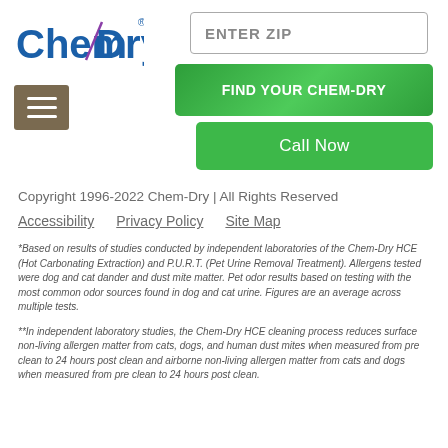[Figure (logo): Chem-Dry logo in blue and green text with a swoosh accent]
[Figure (other): Hamburger menu icon (three horizontal lines) on a tan/brown background]
ENTER ZIP
FIND YOUR CHEM-DRY
Call Now
Copyright 1996-2022 Chem-Dry | All Rights Reserved
Accessibility
Privacy Policy
Site Map
*Based on results of studies conducted by independent laboratories of the Chem-Dry HCE (Hot Carbonating Extraction) and P.U.R.T. (Pet Urine Removal Treatment). Allergens tested were dog and cat dander and dust mite matter. Pet odor results based on testing with the most common odor sources found in dog and cat urine. Figures are an average across multiple tests.
**In independent laboratory studies, the Chem-Dry HCE cleaning process reduces surface non-living allergen matter from cats, dogs, and human dust mites when measured from pre clean to 24 hours post clean and airborne non-living allergen matter from cats and dogs when measured from pre clean to 24 hours post clean.